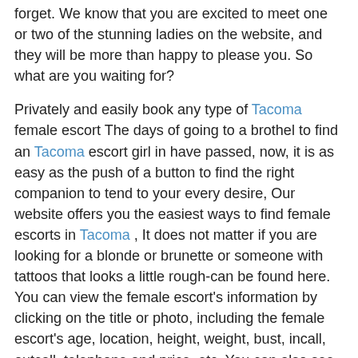forget. We know that you are excited to meet one or two of the stunning ladies on the website, and they will be more than happy to please you. So what are you waiting for?
Privately and easily book any type of Tacoma female escort The days of going to a brothel to find an Tacoma escort girl in have passed, now, it is as easy as the push of a button to find the right companion to tend to your every desire, Our website offers you the easiest ways to find female escorts in Tacoma , It does not matter if you are looking for a blonde or brunette or someone with tattoos that looks a little rough-can be found here. You can view the female escort's information by clicking on the title or photo, including the female escort's age, location, height, weight, bust, incall, outcall, telephone and price, etc. You can also see some of her other introductions. If you think that she could be fun, give her a call, but only if you can afford her services.While the escorts may come from all over USA and from many different agencies, you can find the one you want right here on this Tacoma and make plans with her without any fuss. No need to worry about people knowing what you are up to. These escort girls know how to keep a secret, and the website has no interest in sharing such